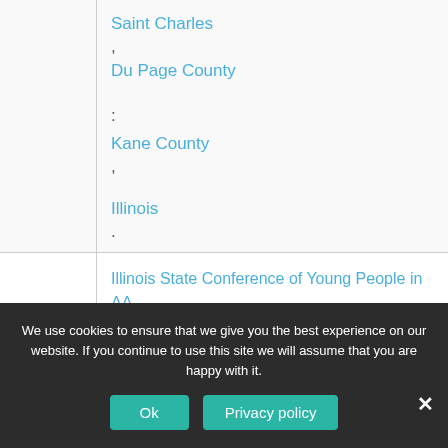|  | Saint Charles ,
Du Page County
:
Kane County ,

Illinois . |
|  | Illinois State Conference of Young People in AA
– Annual Alcoholics Anonymous (AA) event with Al-Anon &
Alateen participation.  ISCYPAA.  34th Annual.
~March , , & , 2016.  .  .  , , |
We use cookies to ensure that we give you the best experience on our website. If you continue to use this site we will assume that you are happy with it.